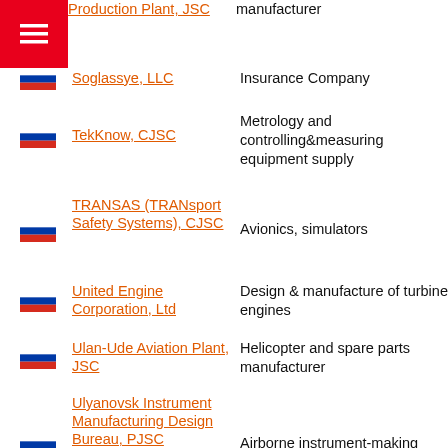Production Plant, JSC | manufacturer
Soglassye, LLC | Insurance Company
TekKnow, CJSC | Metrology and controlling&measuring equipment supply
TRANSAS (TRANsport Safety Systems), CJSC | Avionics, simulators
United Engine Corporation, Ltd | Design & manufacture of turbine engines
Ulan-Ude Aviation Plant, JSC | Helicopter and spare parts manufacturer
Ulyanovsk Instrument Manufacturing Design Bureau, PJSC | Airborne instrument-making
Ufa Engine Industrial Association, JSC | Manufacture, maintenace & repair of aircraft engines
URALHELICOM, LLC | Helicopter sales and service